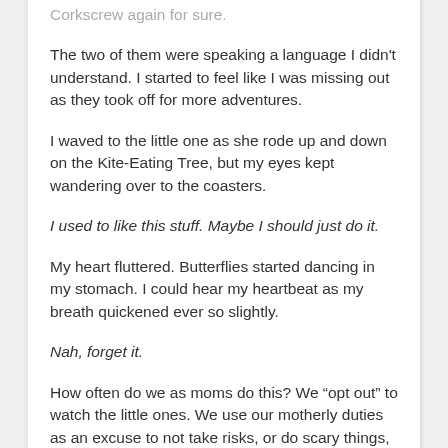Corkscrew again for sure.
The two of them were speaking a language I didn't understand. I started to feel like I was missing out as they took off for more adventures.
I waved to the little one as she rode up and down on the Kite-Eating Tree, but my eyes kept wandering over to the coasters.
I used to like this stuff. Maybe I should just do it.
My heart fluttered. Butterflies started dancing in my stomach. I could hear my heartbeat as my breath quickened ever so slightly.
Nah, forget it.
How often do we as moms do this? We “opt out” to watch the little ones. We use our motherly duties as an excuse to not take risks, or do scary things, or get out of our comfort zones. And, many times, we do so